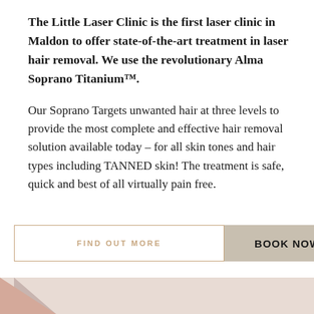The Little Laser Clinic is the first laser clinic in Maldon to offer state-of-the-art treatment in laser hair removal. We use the revolutionary Alma Soprano Titanium™.
Our Soprano Targets unwanted hair at three levels to provide the most complete and effective hair removal solution available today – for all skin tones and hair types including TANNED skin! The treatment is safe, quick and best of all virtually pain free.
FIND OUT MORE | BOOK NOW